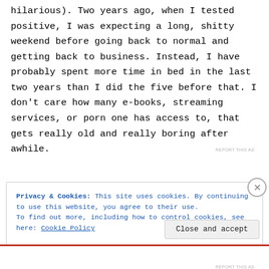hilarious). Two years ago, when I tested positive, I was expecting a long, shitty weekend before going back to normal and getting back to business. Instead, I have probably spent more time in bed in the last two years than I did the five before that. I don't care how many e-books, streaming services, or porn one has access to, that gets really old and really boring after awhile.
REPORT THIS AD
Privacy & Cookies: This site uses cookies. By continuing to use this website, you agree to their use.
To find out more, including how to control cookies, see here: Cookie Policy
Close and accept